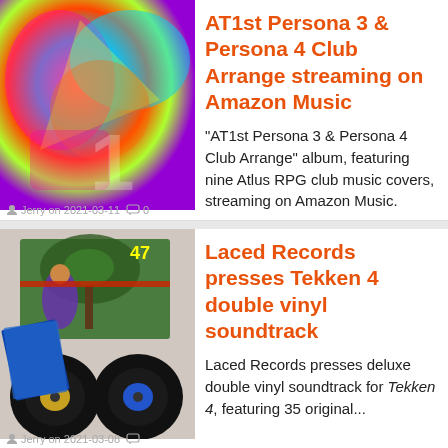[Figure (photo): Colorful abstract album artwork for AT1st Persona 3 & Persona 4 Club Arrange]
AT1st Persona 3 & Persona 4 Club Arrange streaming on Amazon Music
"AT1st Persona 3 & Persona 4 Club Arrange" album, featuring nine Atlus RPG club music covers, streaming on Amazon Music.
Jerry on 2021-03-11  0
[Figure (photo): Tekken 4 double vinyl soundtrack product image showing vinyl records and box art]
Laced Records presses Tekken 4 double vinyl soundtrack
Laced Records presses deluxe double vinyl soundtrack for Tekken 4, featuring 35 original...
Jerry on 2021-03-08